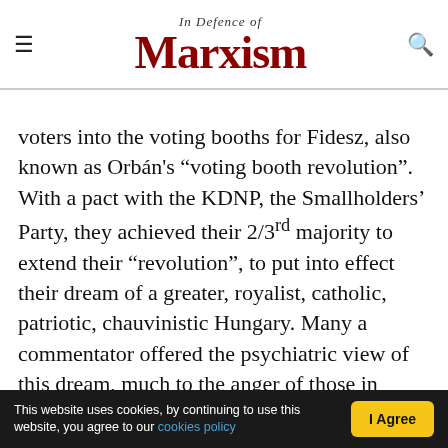In Defence of Marxism
voters into the voting booths for Fidesz, also known as Orbán's “voting booth revolution”. With a pact with the KDNP, the Smallholders’ Party, they achieved their 2/3rd majority to extend their “revolution”, to put into effect their dream of a greater, royalist, catholic, patriotic, chauvinistic Hungary. Many a commentator offered the psychiatric view of this dream, much to the anger of those in power; and while psychiatry has many an interesting view to offer on Orbán’s state of mind and the quality of “thought” around him, we need a sober political and scientific analysis, which only
This website uses cookies, by continuing to use this website, you agree to our cookies policy | I Agree